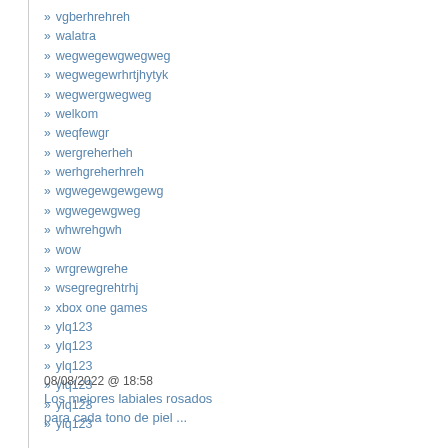vgberhrehreh
walatra
wegwegewgwegweg
wegwegewrhrtjhytyk
wegwergwegweg
welkom
weqfewgr
wergreherheh
werhgreherhreh
wgwegewgewgewg
wgwegewgweg
whwrehgwh
wow
wrgrewgrehe
wsegregrehtrhj
xbox one games
ylq123
ylq123
ylq123
ylq123
ylq123
ylq123
08/08/2022 @ 18:58
Los mejores labiales rosados para cada tono de piel ...